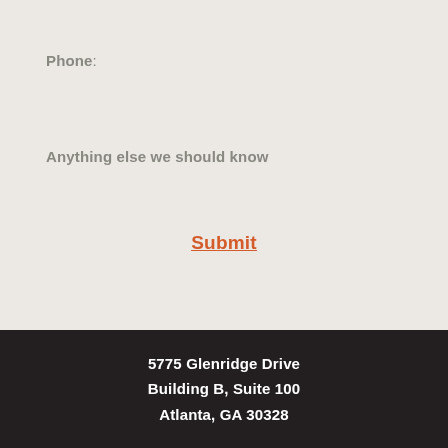Phone:
Anything else we should know
Submit
5775 Glenridge Drive
Building B, Suite 100
Atlanta, GA 30328